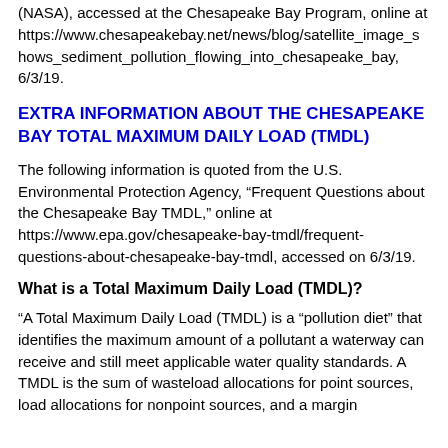(NASA), accessed at the Chesapeake Bay Program, online at https://www.chesapeakebay.net/news/blog/satellite_image_shows_sediment_pollution_flowing_into_chesapeake_bay, 6/3/19.
EXTRA INFORMATION ABOUT THE CHESAPEAKE BAY TOTAL MAXIMUM DAILY LOAD (TMDL)
The following information is quoted from the U.S. Environmental Protection Agency, “Frequent Questions about the Chesapeake Bay TMDL,” online at https://www.epa.gov/chesapeake-bay-tmdl/frequent-questions-about-chesapeake-bay-tmdl, accessed on 6/3/19.
What is a Total Maximum Daily Load (TMDL)?
“A Total Maximum Daily Load (TMDL) is a “pollution diet” that identifies the maximum amount of a pollutant a waterway can receive and still meet applicable water quality standards. A TMDL is the sum of wasteload allocations for point sources, load allocations for nonpoint sources, and a margin